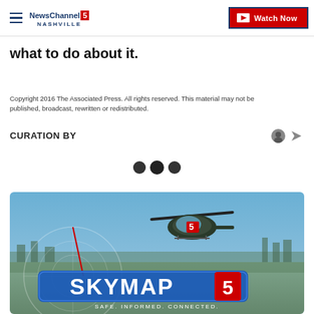NewsChannel 5 Nashville | Watch Now
what to do about it.
Copyright 2016 The Associated Press. All rights reserved. This material may not be published, broadcast, rewritten or redistributed.
CURATION BY
[Figure (other): Three dark circles (loading/pagination dots)]
[Figure (photo): SKYMAP5 advertisement image showing a helicopter flying over a city with the text SKYMAP5 and tagline SAFE. INFORMED. CONNECTED.]